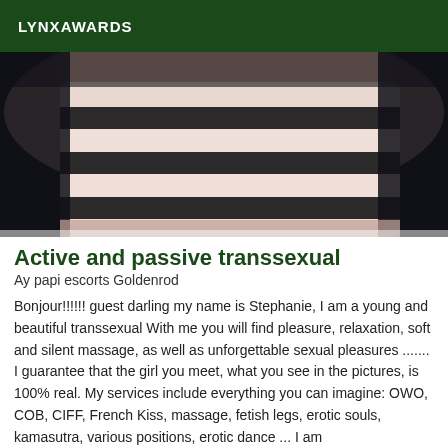LYNXAWARDS
[Figure (photo): Close-up photo of a person wearing a striped black and white top, partially cropped showing torso area against dark background]
Active and passive transsexual
Ay papi escorts Goldenrod
Bonjour!!!!!! guest darling my name is Stephanie, I am a young and beautiful transsexual With me you will find pleasure, relaxation, soft and silent massage, as well as unforgettable sexual pleasures ....... I guarantee that the girl you meet, what you see in the pictures, is 100% real. My services include everything you can imagine: OWO, COB, CIFF, French Kiss, massage, fetish legs, erotic souls, kamasutra, various positions, erotic dance ... I am